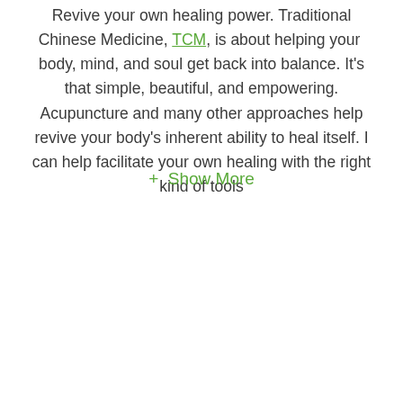Revive your own healing power. Traditional Chinese Medicine, TCM, is about helping your body, mind, and soul get back into balance. It's that simple, beautiful, and empowering. Acupuncture and many other approaches help revive your body's inherent ability to heal itself. I can help facilitate your own healing with the right kind of tools
+ Show More